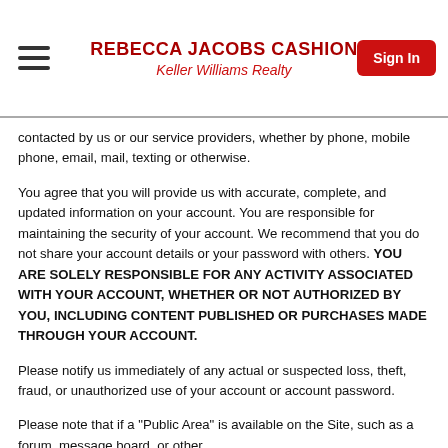REBECCA JACOBS CASHION
Keller Williams Realty
contacted by us or our service providers, whether by phone, mobile phone, email, mail, texting or otherwise.
You agree that you will provide us with accurate, complete, and updated information on your account. You are responsible for maintaining the security of your account. We recommend that you do not share your account details or your password with others. YOU ARE SOLELY RESPONSIBLE FOR ANY ACTIVITY ASSOCIATED WITH YOUR ACCOUNT, WHETHER OR NOT AUTHORIZED BY YOU, INCLUDING CONTENT PUBLISHED OR PURCHASES MADE THROUGH YOUR ACCOUNT.
Please notify us immediately of any actual or suspected loss, theft, fraud, or unauthorized use of your account or account password.
Please note that if a "Public Area" is available on the Site, such as a forum, message board, or other